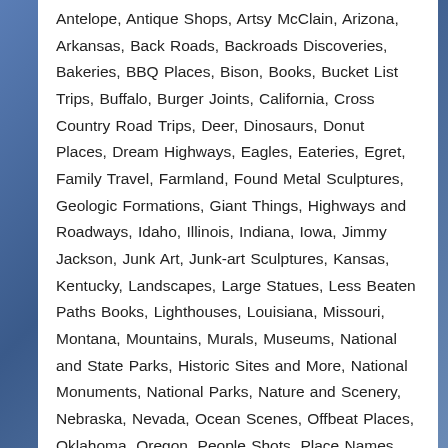Antelope, Antique Shops, Artsy McClain, Arizona, Arkansas, Back Roads, Backroads Discoveries, Bakeries, BBQ Places, Bison, Books, Bucket List Trips, Buffalo, Burger Joints, California, Cross Country Road Trips, Deer, Dinosaurs, Donut Places, Dream Highways, Eagles, Eateries, Egret, Family Travel, Farmland, Found Metal Sculptures, Geologic Formations, Giant Things, Highways and Roadways, Idaho, Illinois, Indiana, Iowa, Jimmy Jackson, Junk Art, Junk-art Sculptures, Kansas, Kentucky, Landscapes, Large Statues, Less Beaten Paths Books, Lighthouses, Louisiana, Missouri, Montana, Mountains, Murals, Museums, National and State Parks, Historic Sites and More, National Monuments, National Parks, Nature and Scenery, Nebraska, Nevada, Ocean Scenes, Offbeat Places, Oklahoma, Oregon, People Shots, Place Names, Post Offices, prairie dogs, Pronghorn Antelope, Quirky Things, Raccoon, Restroom Signs, Roadside Attractions, Roadsigns, Route 66, Sandhill Cranes, Seagulls, Selfies, Signs and Billboards, Snow Geese, South Dakota, Street Art, Swamps, Tennessee, Texas, Town Names, Travel Blogging, Travel with grandchildren, Unexpected Discoveries, Unique Eatery, Unique Places, US Highway 101, US Highway 14, US Highway 16, US Highway 16A, US Highway 2, US